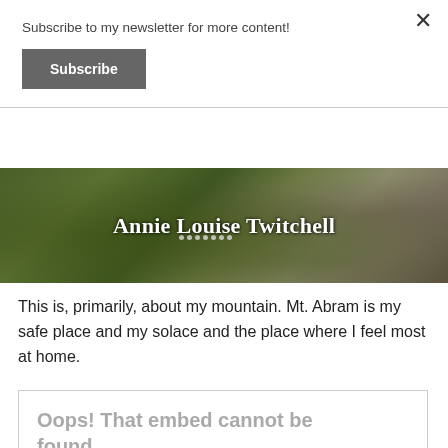Subscribe to my newsletter for more content!
Subscribe
[Figure (photo): Website banner header image showing rocky mountain terrain with green moss and small white flowers. Text overlay reads 'Annie Louise Twitchell' in white serif font.]
This is, primarily, about my mountain. Mt. Abram is my safe place and my solace and the place where I feel most at home.
Oops! That embed cannot be found.